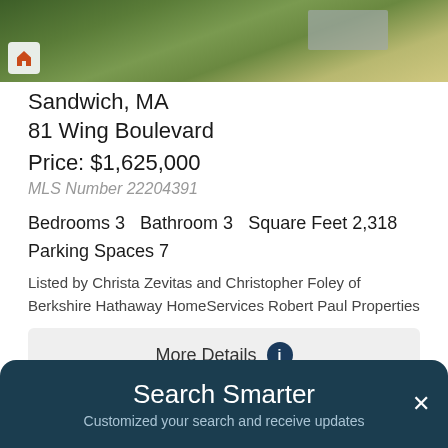[Figure (photo): Aerial view of house with greenery and driveway, with home icon overlay in bottom-left corner]
Sandwich, MA
81 Wing Boulevard
Price: $1,625,000
MLS Number 22204391
Bedrooms 3   Bathroom 3   Square Feet 2,318
Parking Spaces 7
Listed by Christa Zevitas and Christopher Foley of Berkshire Hathaway HomeServices Robert Paul Properties
More Details
[Figure (photo): Partial view of another property listing with trees and sky, with heart/save icon in bottom-right]
Search Smarter
Customized your search and receive updates